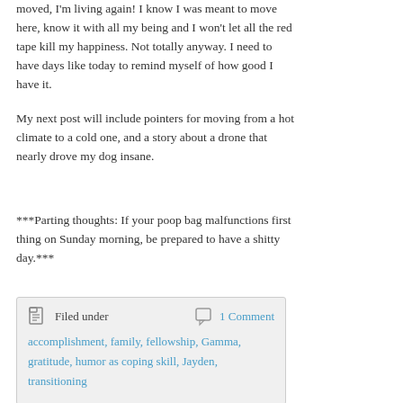moved, I'm living again! I know I was meant to move here, know it with all my being and I won't let all the red tape kill my happiness. Not totally anyway. I need to have days like today to remind myself of how good I have it.
My next post will include pointers for moving from a hot climate to a cold one, and a story about a drone that nearly drove my dog insane.
***Parting thoughts: If your poop bag malfunctions first thing on Sunday morning, be prepared to have a shitty day.***
Filed under   1 Comment
accomplishment, family, fellowship, Gamma, gratitude, humor as coping skill, Jayden, transitioning